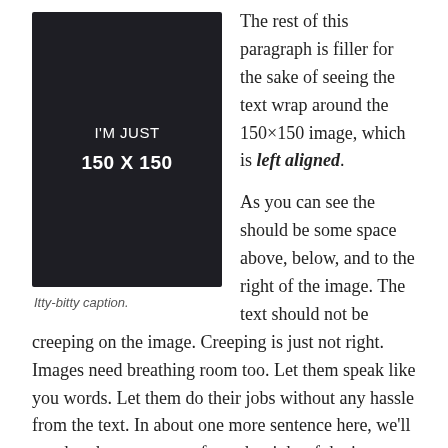[Figure (illustration): Dark square placeholder image labeled 'I'M JUST 150 X 150']
Itty-bitty caption.
The rest of this paragraph is filler for the sake of seeing the text wrap around the 150×150 image, which is left aligned.

As you can see the should be some space above, below, and to the right of the image. The text should not be creeping on the image. Creeping is just not right. Images need breathing room too. Let them speak like you words. Let them do their jobs without any hassle from the text. In about one more sentence here, we'll see that the text moves from the right of the image down below the image in seamless transition. Again, letting the do it's thang. Mission accomplished!
And now for a massively large image. It also has no